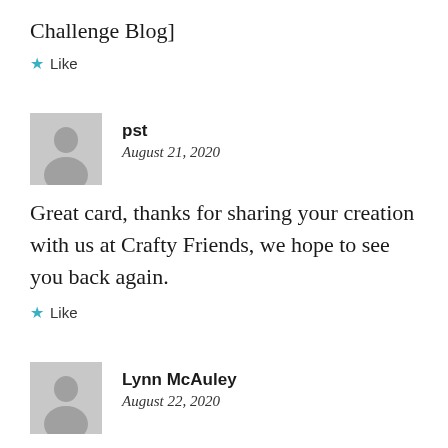Challenge Blog]
★ Like
[Figure (illustration): Generic user avatar placeholder image - grey silhouette of a person on grey background]
pst
August 21, 2020
Great card, thanks for sharing your creation with us at Crafty Friends, we hope to see you back again.
★ Like
[Figure (illustration): Generic user avatar placeholder image - grey silhouette of a person on grey background]
Lynn McAuley
August 22, 2020